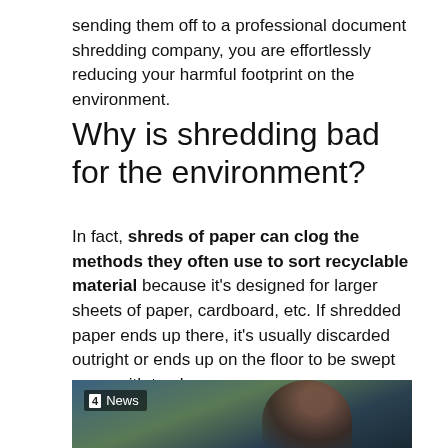sending them off to a professional document shredding company, you are effortlessly reducing your harmful footprint on the environment.
Why is shredding bad for the environment?
In fact, shreds of paper can clog the methods they often use to sort recyclable material because it's designed for larger sheets of paper, cardboard, etc. If shredded paper ends up there, it's usually discarded outright or ends up on the floor to be swept away with trash.
[Figure (photo): News broadcast screenshot showing Channel 4 News logo badge in top-left corner and a person visible on the right side of frame, with blurred outdoor background.]